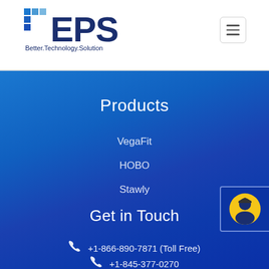[Figure (logo): EPS logo with blue letter blocks and text 'Better.Technology.Solution']
Products
VegaFit
HOBO
Stawly
Get in Touch
+1-866-890-7871 (Toll Free)
+1-845-377-0270